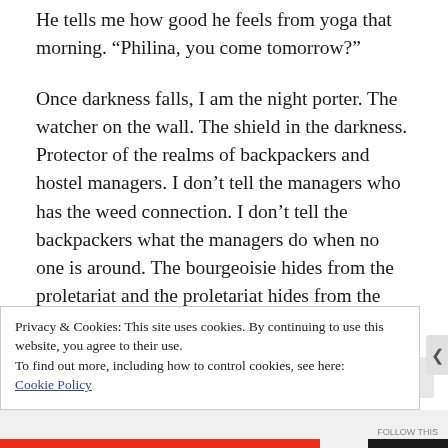He tells me how good he feels from yoga that morning. “Philina, you come tomorrow?”
Once darkness falls, I am the night porter. The watcher on the wall. The shield in the darkness. Protector of the realms of backpackers and hostel managers. I don’t tell the managers who has the weed connection. I don’t tell the backpackers what the managers do when no one is around. The bourgeoisie hides from the
Privacy & Cookies: This site uses cookies. By continuing to use this website, you agree to their use.
To find out more, including how to control cookies, see here: Cookie Policy
Close and accept